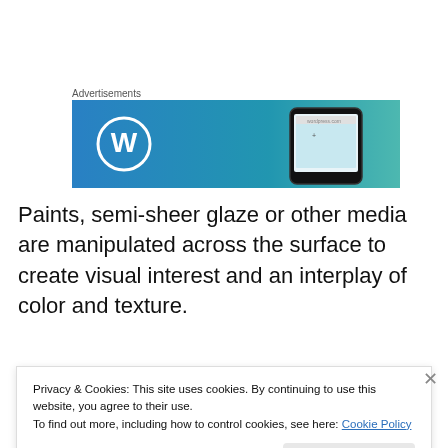Advertisements
[Figure (screenshot): WordPress advertisement banner showing WordPress logo on blue-to-teal gradient background with a mobile phone on the right side]
Paints, semi-sheer glaze or other media are manipulated across the surface to create visual interest and an interplay of color and texture.
[Figure (photo): Decorative painted surface showing a copper/terracotta colored textured finish with glazing effects]
Privacy & Cookies: This site uses cookies. By continuing to use this website, you agree to their use.
To find out more, including how to control cookies, see here: Cookie Policy
Close and accept